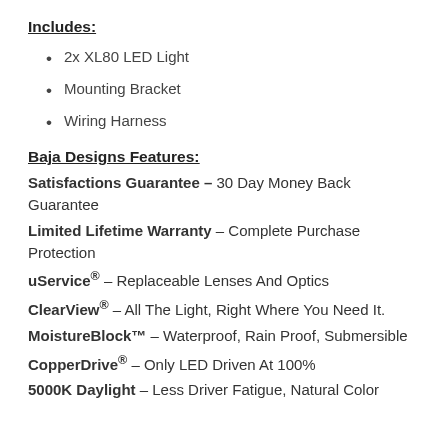Includes:
2x XL80 LED Light
Mounting Bracket
Wiring Harness
Baja Designs Features:
Satisfactions Guarantee – 30 Day Money Back Guarantee
Limited Lifetime Warranty – Complete Purchase Protection
uService® – Replaceable Lenses And Optics
ClearView® – All The Light, Right Where You Need It.
MoistureBlock™ – Waterproof, Rain Proof, Submersible
CopperDrive® – Only LED Driven At 100%
5000K Daylight – Less Driver Fatigue, Natural Color